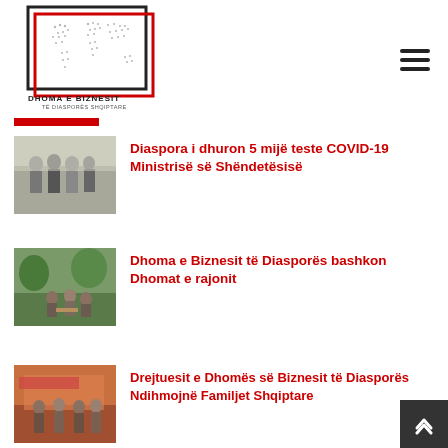[Figure (logo): Dhoma e Biznesit të Diasporës Shqiptare logo with world map and red/black border]
[Figure (photo): People standing at an event, related to COVID-19 test donation]
Diaspora i dhuron 5 mijë teste COVID-19 Ministrisë së Shëndetësisë
[Figure (photo): People at an outdoor meeting, related to Dhoma e Biznesit të Diasporës]
Dhoma e Biznesit të Diasporës bashkon Dhomat e rajonit
[Figure (photo): Indoor event photo related to Drejtuesit e Dhomës]
Drejtuesit e Dhomës së Biznesit të Diasporës Ndihmojnë Familjet Shqiptare